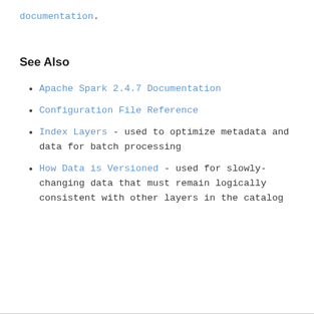documentation.
See Also
Apache Spark 2.4.7 Documentation
Configuration File Reference
Index Layers - used to optimize metadata and data for batch processing
How Data is Versioned - used for slowly-changing data that must remain logically consistent with other layers in the catalog